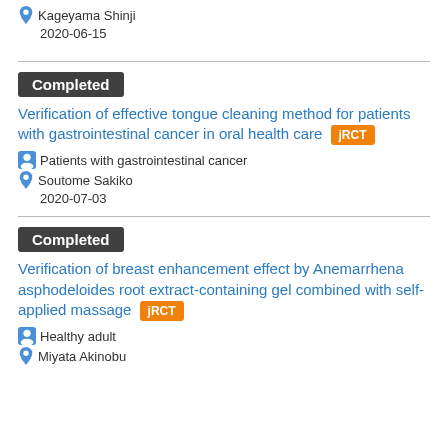Kageyama Shinji
2020-06-15
Completed
Verification of effective tongue cleaning method for patients with gastrointestinal cancer in oral health care jRCT
Patients with gastrointestinal cancer
Soutome Sakiko
2020-07-03
Completed
Verification of breast enhancement effect by Anemarrhena asphodeloides root extract-containing gel combined with self-applied massage jRCT
Healthy adult
Miyata Akinobu